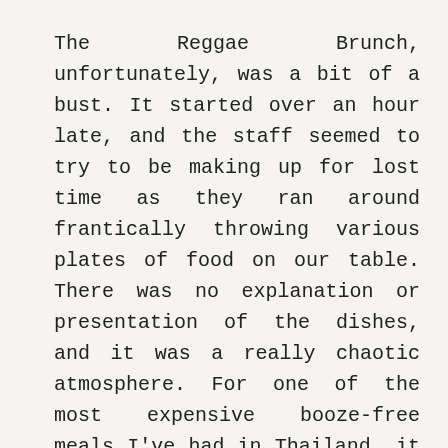The Reggae Brunch, unfortunately, was a bit of a bust. It started over an hour late, and the staff seemed to try to be making up for lost time as they ran around frantically throwing various plates of food on our table. There was no explanation or presentation of the dishes, and it was a really chaotic atmosphere. For one of the most expensive booze-free meals I've had in Thailand, it was a letdown.